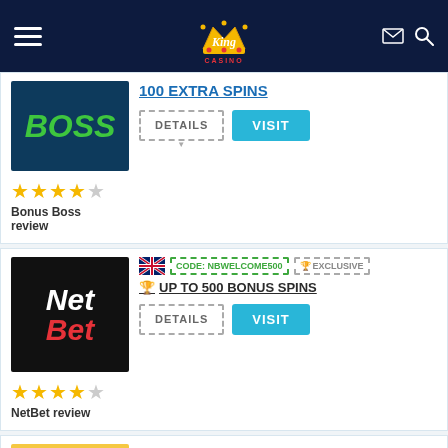King Casino
100 EXTRA SPINS
Bonus Boss review
CODE: NBWELCOME500 | EXCLUSIVE
UP TO 500 BONUS SPINS
NetBet review
EXCLUSIVE